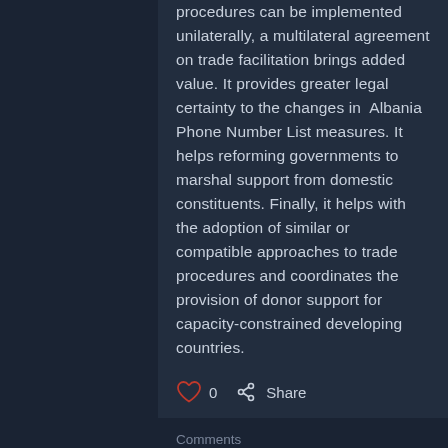procedures can be implemented unilaterally, a multilateral agreement on trade facilitation brings added value. It provides greater legal certainty to the changes in Albania Phone Number List measures. It helps reforming governments to marshal support from domestic constituents. Finally, it helps with the adoption of similar or compatible approaches to trade procedures and coordinates the provision of donor support for capacity-constrained developing countries.
0  Share
Comments
Write a comment...